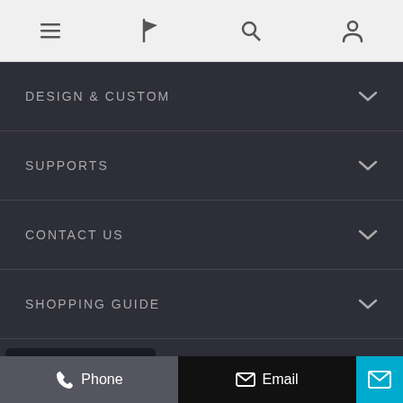Navigation icons: menu, flag, search, account
DESIGN & CUSTOM
SUPPORTS
CONTACT US
SHOPPING GUIDE
Inquiry For Pricelist
Small Kitchen Ideas, Kitchen Design Ideas, Kitchen Layouts, Kitchen Remodel,
Copyright © 2009-2021 Guangdong HOMURG Building
Phone   Email